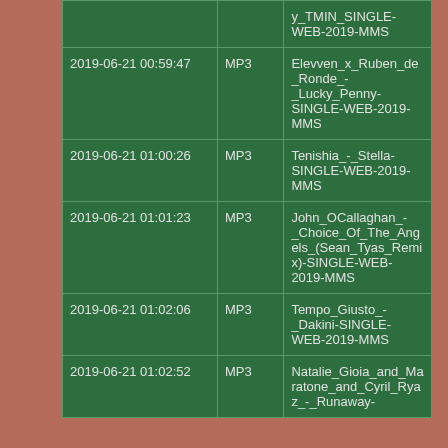|  |  | y_TMIN_SINGLE-WEB-2019-MMS |
| 2019-06-21 00:59:47 | MP3 | Elevven_x_Ruben_de_Ronde_-_Lucky_Penny-SINGLE-WEB-2019-MMS |
| 2019-06-21 01:00:26 | MP3 | Tenishia_-_Stella-SINGLE-WEB-2019-MMS |
| 2019-06-21 01:01:23 | MP3 | John_OCallaghan_-_Choice_Of_The_Angels_(Sean_Tyas_Remix)-SINGLE-WEB-2019-MMS |
| 2019-06-21 01:02:06 | MP3 | Tempo_Giusto_-_Dakini-SINGLE-WEB-2019-MMS |
| 2019-06-21 01:02:52 | MP3 | Natalie_Gioia_and_Maratone_and_Cyril_Ryaz_-_Runaway- |